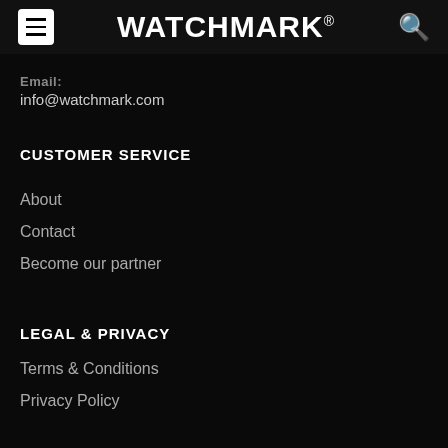WATCHMARK
Email:
info@watchmark.com
CUSTOMER SERVICE
About
Contact
Become our partner
LEGAL & PRIVACY
Terms & Conditions
Privacy Policy